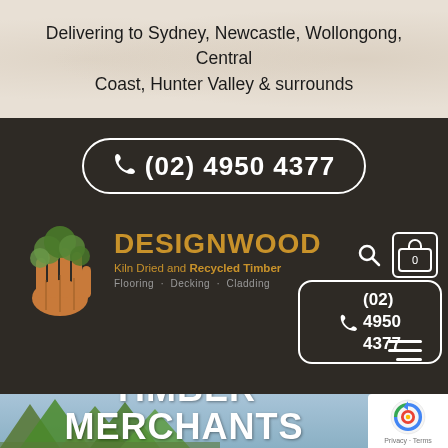Delivering to Sydney, Newcastle, Wollongong, Central Coast, Hunter Valley & surrounds
[Figure (logo): DESIGNWOOD logo with phone number pill (02) 4950 4377, Kiln Dried and Recycled Timber tagline, Flooring - Decking - Cladding, tree/hand logo, search icon, bag icon, secondary phone pill]
HARDWOOD TIMBER MERCHANTS